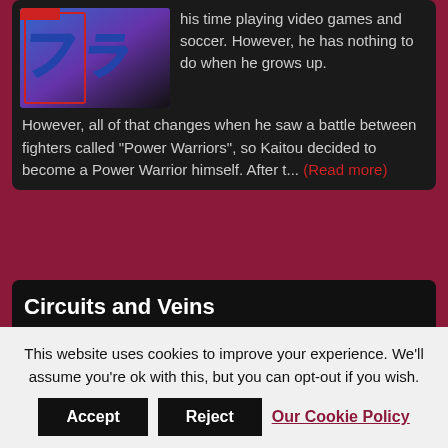[Figure (illustration): Manga/anime style illustration with Japanese characters and blue/purple coloring]
his time playing video games and soccer. However, he has nothing to do when he grows up.
However, all of that changes when he saw a battle between fighters called "Power Warriors", so Kaitou decided to become a Power Warrior himself. After t... (Read more)
Circuits and Veins
[Figure (illustration): Anime/comic style illustration showing two characters, one with short dark hair]
What do you do when the cutie who moves in next
This website uses cookies to improve your experience. We'll assume you're ok with this, but you can opt-out if you wish.